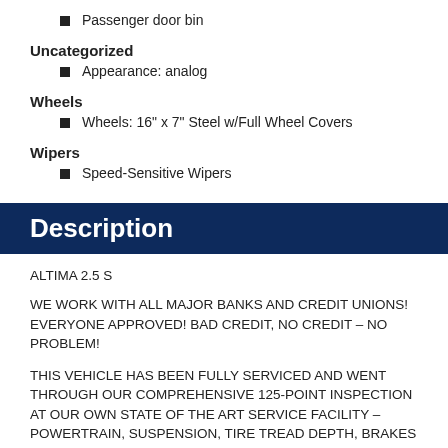Passenger door bin
Uncategorized
Appearance: analog
Wheels
Wheels: 16" x 7" Steel w/Full Wheel Covers
Wipers
Speed-Sensitive Wipers
Description
ALTIMA 2.5 S
WE WORK WITH ALL MAJOR BANKS AND CREDIT UNIONS! EVERYONE APPROVED! BAD CREDIT, NO CREDIT – NO PROBLEM!
THIS VEHICLE HAS BEEN FULLY SERVICED AND WENT THROUGH OUR COMPREHENSIVE 125-POINT INSPECTION AT OUR OWN STATE OF THE ART SERVICE FACILITY – POWERTRAIN, SUSPENSION, TIRE TREAD DEPTH, BRAKES CONDITION AND ALL ELECTRICAL COMPONENTS! EVERY